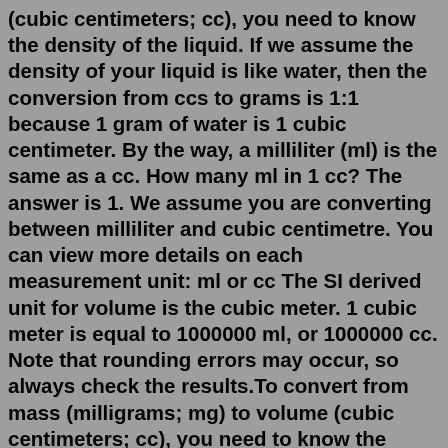(cubic centimeters; cc), you need to know the density of the liquid. If we assume the density of your liquid is like water, then the conversion from ccs to grams is 1:1 because 1 gram of water is 1 cubic centimeter. By the way, a milliliter (ml) is the same as a cc. How many ml in 1 cc? The answer is 1. We assume you are converting between milliliter and cubic centimetre. You can view more details on each measurement unit: ml or cc The SI derived unit for volume is the cubic meter. 1 cubic meter is equal to 1000000 ml, or 1000000 cc. Note that rounding errors may occur, so always check the results.To convert from mass (milligrams; mg) to volume (cubic centimeters; cc), you need to know the density of the liquid. If we assume the density of your liquid is like water, then the conversion from ccs to grams is 1:1 because 1 gram of water is 1 cubic centimeter. By the way, a milliliter (ml) is the same as a cc. Apr 13, 2015 · One ml or cc of mercury would weigh 13.56 times as much as a similar volume of water. This is all worked out by looking at specific gravity, which is expressed in...